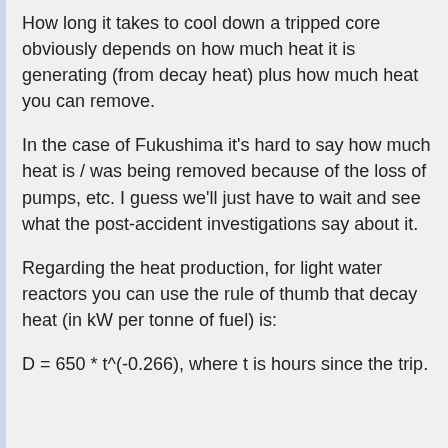How long it takes to cool down a tripped core obviously depends on how much heat it is generating (from decay heat) plus how much heat you can remove.
In the case of Fukushima it's hard to say how much heat is / was being removed because of the loss of pumps, etc. I guess we'll just have to wait and see what the post-accident investigations say about it.
Regarding the heat production, for light water reactors you can use the rule of thumb that decay heat (in kW per tonne of fuel) is: